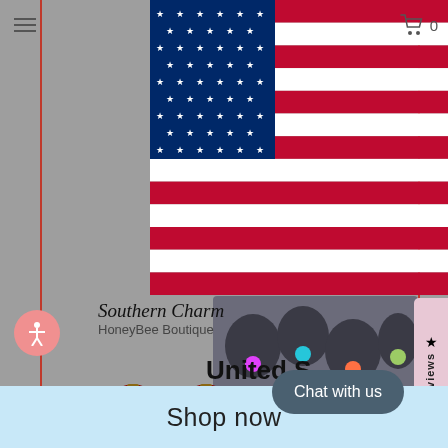[Figure (screenshot): Screenshot of a website showing a US flag overlay on a shopping website (HoneyBee Boutique / Southern Charm), with currency selector showing USD and shipping options for United States, Christmas ornament product images, a chat button, reviews tab, and Shop now bar at the bottom.]
☰
🛒 0
Southern Charm
HoneyBee Boutique
United S
Shop in USD $
Get shipping options for United States
★ Reviews
Chat with us
Shop now